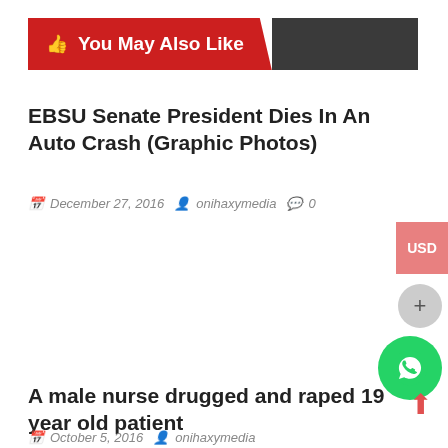👍 You May Also Like
EBSU Senate President Dies In An Auto Crash (Graphic Photos)
December 27, 2016  onihaxymedia  0
A male nurse drugged and raped 19 year old patient
October 5, 2016  onihaxymedia  0